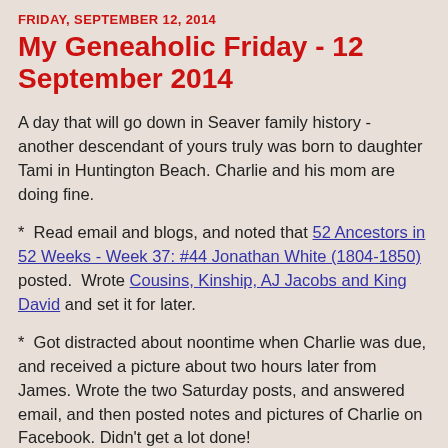FRIDAY, SEPTEMBER 12, 2014
My Geneaholic Friday - 12 September 2014
A day that will go down in Seaver family history - another descendant of yours truly was born to daughter Tami in Huntington Beach.  Charlie and his mom are doing fine.
*  Read email and blogs, and noted that 52 Ancestors in 52 Weeks - Week 37: #44 Jonathan White (1804-1850) posted.  Wrote Cousins, Kinship, AJ Jacobs and King David and set it for later.
*  Got distracted about noontime when Charlie was due, and received a picture about two hours later from James.  Wrote the two Saturday posts, and answered email, and then posted notes and pictures of Charlie on Facebook.  Didn't get a lot done!
*  Went in at 5 p.m. to watch TV news, ate dinner, then tried to empty the washing machine - it stopped working on